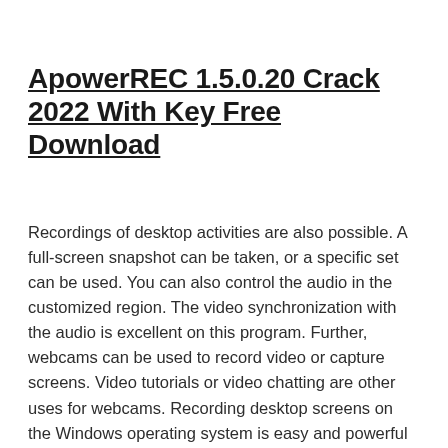ApowerREC 1.5.0.20 Crack 2022 With Key Free Download
Recordings of desktop activities are also possible. A full-screen snapshot can be taken, or a specific set can be used. You can also control the audio in the customized region. The video synchronization with the audio is excellent on this program. Further, webcams can be used to record video or capture screens. Video tutorials or video chatting are other uses for webcams. Recording desktop screens on the Windows operating system is easy and powerful with screenshots. Capturing videos within the context of a desktop environment is easy and powerful. With this program, you can capture all video events in the